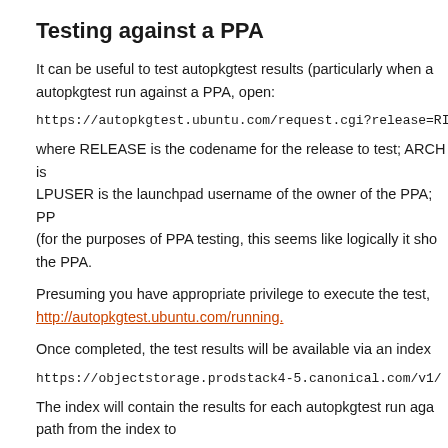Testing against a PPA
It can be useful to test autopkgtest results (particularly when a autopkgtest run against a PPA, open:
https://autopkgtest.ubuntu.com/request.cgi?release=RI
where RELEASE is the codename for the release to test; ARCH is LPUSER is the launchpad username of the owner of the PPA; PP (for the purposes of PPA testing, this seems like logically it sho the PPA.
Presuming you have appropriate privilege to execute the test, http://autopkgtest.ubuntu.com/running.
Once completed, the test results will be available via an index
https://objectstorage.prodstack4-5.canonical.com/v1/
The index will contain the results for each autopkgtest run aga path from the index to
https://objectstorage.prodstack4-5.canonical.com/v1/
How to re-run autopkgtests with dependencie